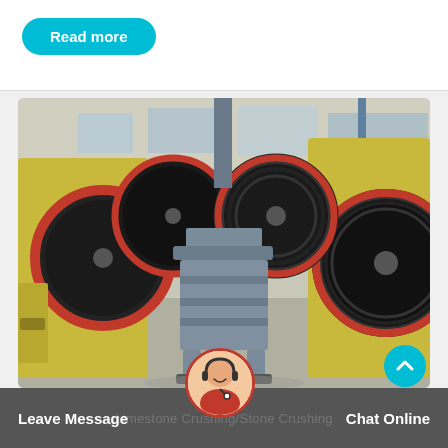Read more
[Figure (photo): Industrial jaw crusher machine with large black and red flywheels, grey steel frame, in a factory/warehouse setting. Multiple similar machines visible in background.]
Leave Message
Chat Online
Limestone Crushing/Stone Crushing